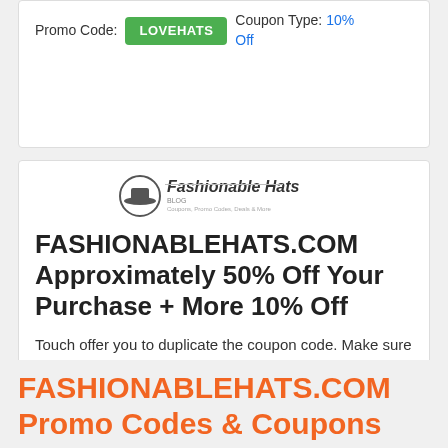Promo Code: LOVEHATS  Coupon Type: 10% Off
[Figure (logo): Fashionable Hats Blog logo with hat icon]
FASHIONABLEHATS.COM Approximately 50% Off Your Purchase + More 10% Off
Touch offer you to duplicate the coupon code. Make sure to paste program code if you look at. Online only.
Promo Code: UPTO60  Coupon Type: 50% Off
FASHIONABLEHATS.COM Promo Codes & Coupons